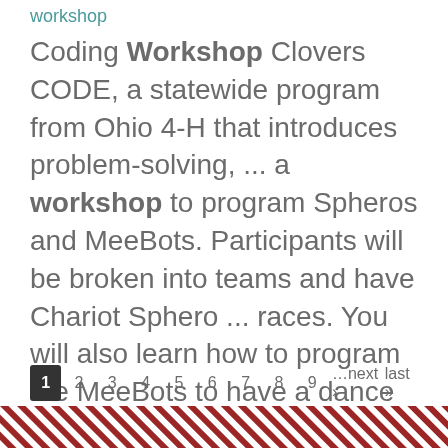workshop
Coding Workshop Clovers CODE, a statewide program from Ohio 4-H that introduces problem-solving, ... a workshop to program Spheros and MeeBots. Participants will be broken into teams and have Chariot Sphero ... races. You will also learn how to program the MeeBots to have a dance party. Download Flyer To reserve ...
1 2 3 4 5 6 7 8 9 …next › last »